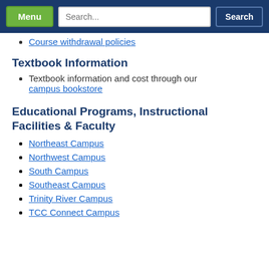Menu | Search... | Search
Course withdrawal policies
Textbook Information
Textbook information and cost through our campus bookstore
Educational Programs, Instructional Facilities & Faculty
Northeast Campus
Northwest Campus
South Campus
Southeast Campus
Trinity River Campus
TCC Connect Campus